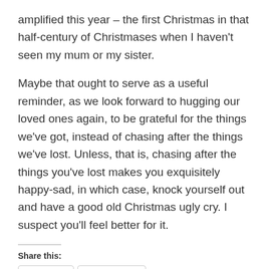amplified this year – the first Christmas in that half-century of Christmases when I haven't seen my mum or my sister.
Maybe that ought to serve as a useful reminder, as we look forward to hugging our loved ones again, to be grateful for the things we've got, instead of chasing after the things we've lost. Unless, that is, chasing after the things you've lost makes you exquisitely happy-sad, in which case, knock yourself out and have a good old Christmas ugly cry. I suspect you'll feel better for it.
Share this:
Twitter  Facebook
Loading...